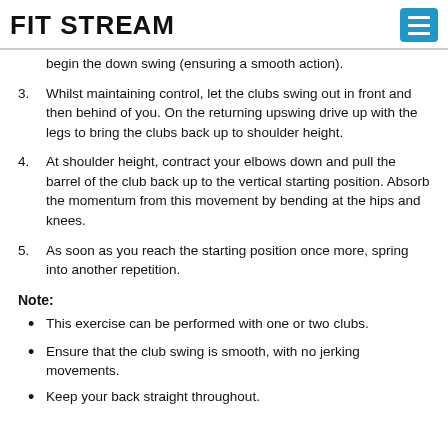FITSTREAM
begin the down swing (ensuring a smooth action).
3. Whilst maintaining control, let the clubs swing out in front and then behind of you. On the returning upswing drive up with the legs to bring the clubs back up to shoulder height.
4. At shoulder height, contract your elbows down and pull the barrel of the club back up to the vertical starting position. Absorb the momentum from this movement by bending at the hips and knees.
5. As soon as you reach the starting position once more, spring into another repetition.
Note:
This exercise can be performed with one or two clubs.
Ensure that the club swing is smooth, with no jerking movements.
Keep your back straight throughout.